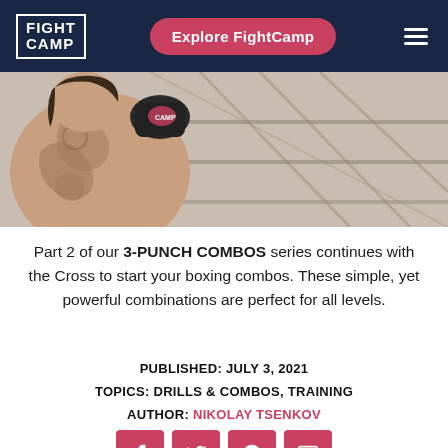FIGHT CAMP | Explore FightCamp
[Figure (photo): A tattooed boxer hitting a speed bag or heavy bag, viewed from behind/side, wearing boxing gloves]
Part 2 of our 3-PUNCH COMBOS series continues with the Cross to start your boxing combos. These simple, yet powerful combinations are perfect for all levels.
PUBLISHED: JULY 3, 2021
TOPICS: DRILLS & COMBOS, TRAINING
AUTHOR: NIKOLAY TSENKOV
[Figure (infographic): Social sharing icons: Facebook, Twitter, Pinterest, Email — red square buttons]
Welcome to the second article in our 3-punch combos